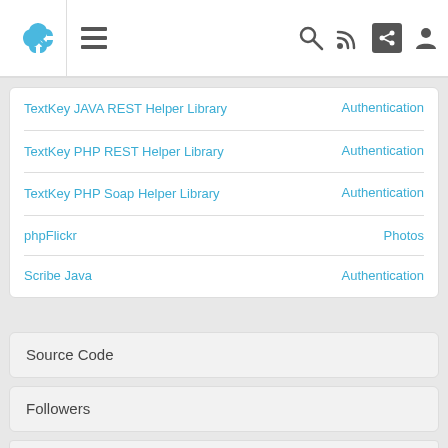Navigation bar with logo, menu, search, RSS, share, and user icons
| Name | Category |
| --- | --- |
| TextKey JAVA REST Helper Library | Authentication |
| TextKey PHP REST Helper Library | Authentication |
| TextKey PHP Soap Helper Library | Authentication |
| phpFlickr | Photos |
| Scribe Java | Authentication |
Source Code
Followers
Read...